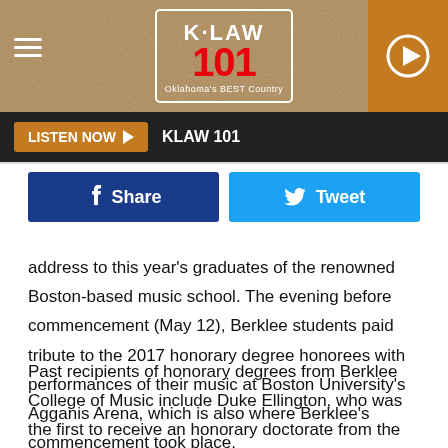[Figure (logo): K-LAW 101 Oklahoma's BEST Country radio station header banner with sandstone texture background, hamburger menu icon on left, K-LAW 101 logo in center, play button on right]
LISTEN NOW  KLAW 101
[Figure (screenshot): Facebook Share button (dark blue) and Twitter Tweet button (light blue)]
address to this year's graduates of the renowned Boston-based music school. The evening before commencement (May 12), Berklee students paid tribute to the 2017 honorary degree honorees with performances of their music at Boston University's Agganis Arena, which is also where Berklee's commencement took place.
Past recipients of honorary degrees from Berklee College of Music include Duke Ellington, who was the first to receive an honorary doctorate from the school in 1971, Aretha Franklin, Dizzy Gillespie, Smokey Robinson, Steven Tyler, Loretta Lynn,